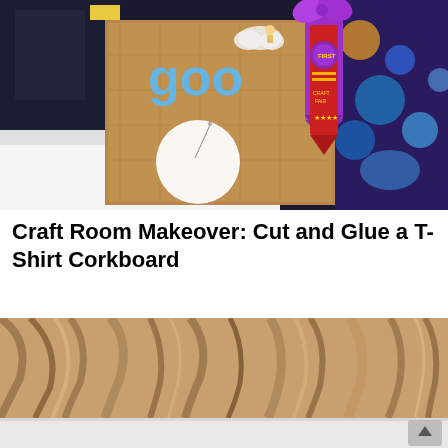[Figure (photo): Photo of a corkboard craft project on a table with a t-shirt design and circular white cutout, alongside award ribbons (purple and red) and colorful art in the background]
Craft Room Makeover: Cut and Glue a T-Shirt Corkboard
[Figure (photo): Close-up photo of blonde/brown highlighted hair seen from above, partially showing white fabric below]